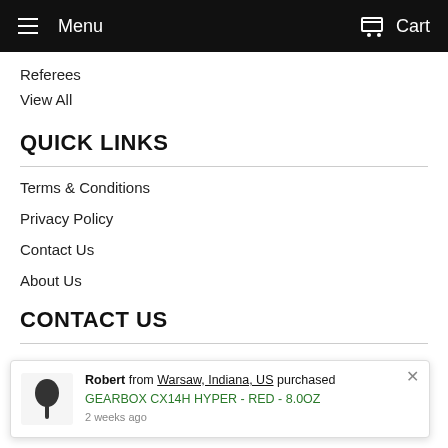Menu  Cart
Referees
View All
QUICK LINKS
Terms & Conditions
Privacy Policy
Contact Us
About Us
CONTACT US
Robert from Warsaw, Indiana, US purchased GEARBOX CX14H HYPER - RED - 8.0OZ 2 weeks ago